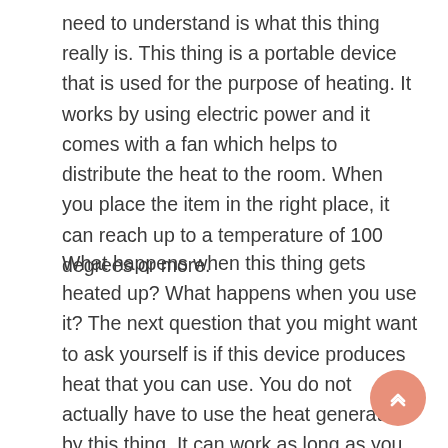need to understand is what this thing really is. This thing is a portable device that is used for the purpose of heating. It works by using electric power and it comes with a fan which helps to distribute the heat to the room. When you place the item in the right place, it can reach up to a temperature of 100 degrees or more.
What happens when this thing gets heated up? What happens when you use it? The next question that you might want to ask yourself is if this device produces heat that you can use. You do not actually have to use the heat generated by this thing. It can work as long as you plug it into a power outlet. It is only there to provide you with the warmth that you need.